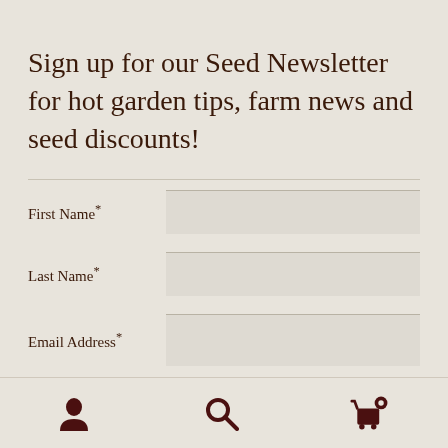Sign up for our Seed Newsletter for hot garden tips, farm news and seed discounts!
First Name*
Last Name*
Email Address*
[Figure (illustration): Bottom navigation bar with three icons: a person/user icon on the left, a search magnifier icon in the center, and a shopping cart icon with a badge on the right. All icons are dark brown/maroon color.]